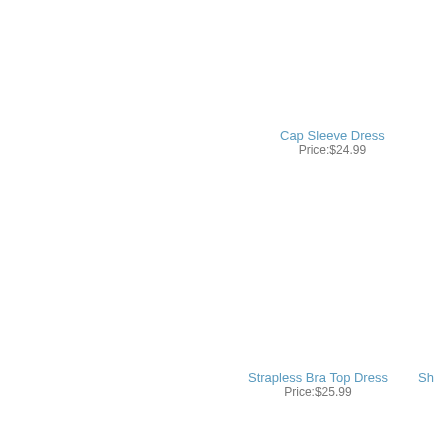Cap Sleeve Dress
Price:$24.99
Strapless Bra Top Dress
Price:$25.99
Sh